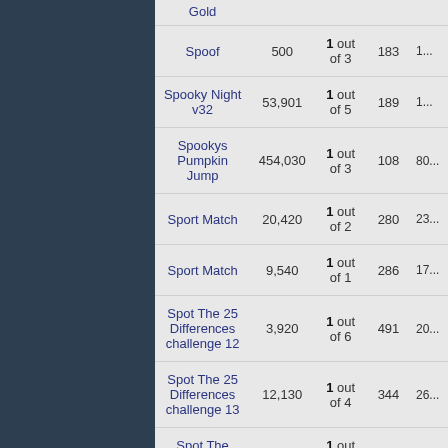| Game | Score | Rank | Players |  |
| --- | --- | --- | --- | --- |
| Gold |  |  |  |  |
| Spoof | 500 | 1 out of 3 | 183 | 1... |
| Spooky Night v32 | 53,901 | 1 out of 5 | 189 | 1... |
| Spookys Pumpkin Jump | 454,030 | 1 out of 3 | 108 | 80... |
| Sport Match | 20,420 | 1 out of 2 | 280 | 23... |
| Sport Match | 9,540 | 1 out of 1 | 286 | 17... |
| Spot The 25 Differences challenge 12 | 3,920 | 1 out of 6 | 491 | 20... |
| Spot The 25 Differences challenge 13 | 12,130 | 1 out of 4 | 344 | 26... |
| Spot The Difference | 1,685 | 1 out of 6 | 276 | 10... |
| Spot the Dot 2 | 15 | 1 out of 4 | 151 | 14... |
| Sproing | 10,441 | 1 out of 14 | 630 | 8... |